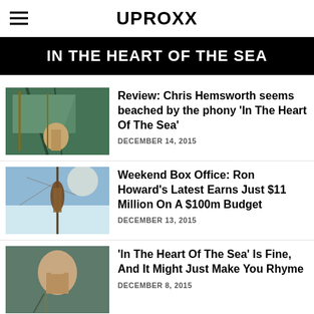UPROXX
IN THE HEART OF THE SEA
[Figure (photo): Movie still from In The Heart Of The Sea showing a sailor on a ship]
Review: Chris Hemsworth seems beached by the phony 'In The Heart Of The Sea'
DECEMBER 14, 2015
[Figure (photo): Movie still showing a person on a ship mast against blue sky]
Weekend Box Office: Ron Howard's Latest Earns Just $11 Million On A $100m Budget
DECEMBER 13, 2015
[Figure (photo): Movie still showing a gaunt man holding a spear]
'In The Heart Of The Sea' Is Fine, And It Might Just Make You Rhyme
DECEMBER 8, 2015
[Figure (photo): Partial movie still showing ship rigging]
'It's A Sea Monstah!' This 'In The